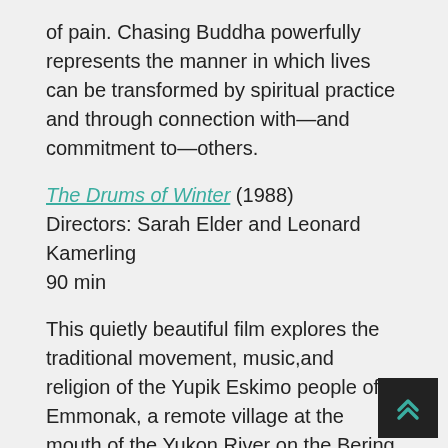of pain. Chasing Buddha powerfully represents the manner in which lives can be transformed by spiritual practice and through connection with—and commitment to—others.
The Drums of Winter (1988)
Directors: Sarah Elder and Leonard Kamerling
90 min
This quietly beautiful film explores the traditional movement, music,and religion of the Yupik Eskimo people of Emmonak, a remote village at the mouth of the Yukon River on the Bering Sea coast. A rare dance language lies at the heart of Yupik Eskimo spiritual and social life; The Drums of Winter gives an intimate look at this art, of which most have never caught a glimpse. This film offers an exquisite representation of the resilience of an indigenous people and their religious